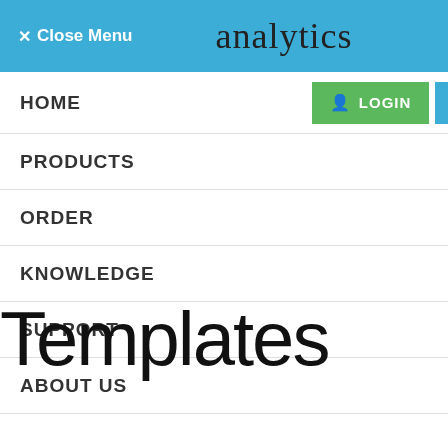✕ Close Menu    analytics
HOME  LOGIN  SIGN UP
PRODUCTS +
ORDER
KNOWLEDGE +
SUPPORT +
ABOUT US +
BLOG
CONTACT US
Templates
Market Phase
d positional traders.
rices are in a strong uptrend
ts prices are in a strong